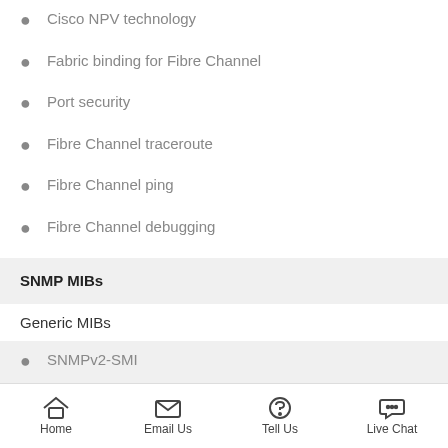Cisco NPV technology
Fabric binding for Fibre Channel
Port security
Fibre Channel traceroute
Fibre Channel ping
Fibre Channel debugging
SNMP MIBs
Generic MIBs
SNMPv2-SMI
CISCO-SMI
Home  Email Us  Tell Us  Live Chat